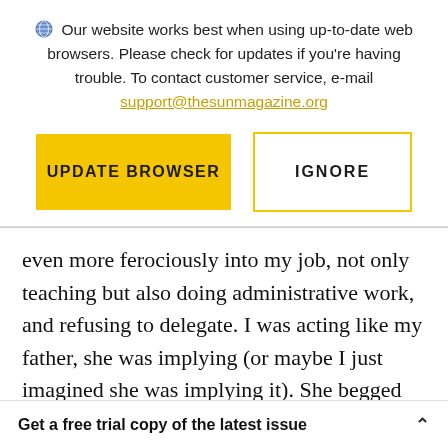Our website works best when using up-to-date web browsers. Please check for updates if you're having trouble. To contact customer service, e-mail support@thesunmagazine.org
[Figure (other): Two buttons: 'UPDATE BROWSER' (yellow filled) and 'IGNORE' (yellow outlined)]
even more ferociously into my job, not only teaching but also doing administrative work, and refusing to delegate. I was acting like my father, she was implying (or maybe I just imagined she was implying it). She begged me to
Get a free trial copy of the latest issue